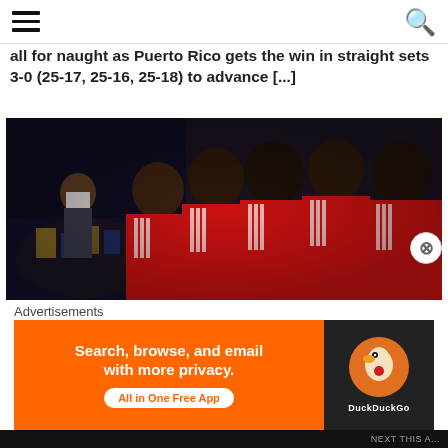[hamburger menu icon] [search icon]
all for naught as Puerto Rico gets the win in straight sets 3-0 (25-17, 25-16, 25-18) to advance [...]
[Figure (photo): Five male volleyball players wearing red jerseys with white Adidas stripes standing in a line, one person in the background wearing a white mask]
Advertisements
[Figure (infographic): DuckDuckGo advertisement banner: 'Search, browse, and email with more privacy. All in One Free App' with DuckDuckGo logo on dark background on the right side]
NEXT THIS A...